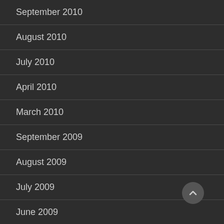September 2010
August 2010
July 2010
April 2010
March 2010
September 2009
August 2009
July 2009
June 2009